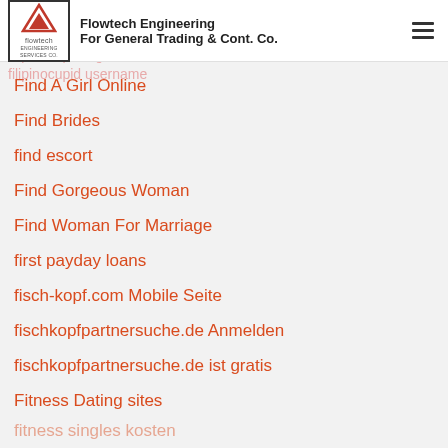Flowtech Engineering For General Trading & Cont. Co.
Find A Girl Online
Find Brides
find escort
Find Gorgeous Woman
Find Woman For Marriage
first payday loans
fisch-kopf.com Mobile Seite
fischkopfpartnersuche.de Anmelden
fischkopfpartnersuche.de ist gratis
Fitness Dating sites
fitness singles kosten